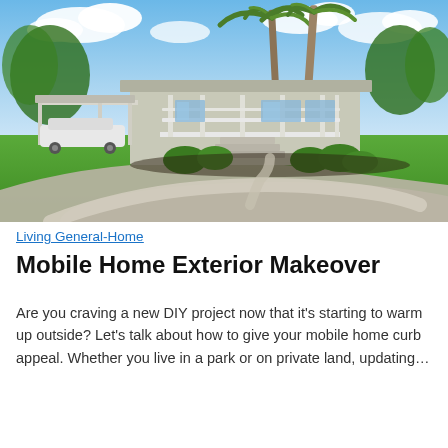[Figure (photo): Exterior photo of a mobile home with white railings, front steps, a covered carport with a white SUV, tropical palm trees, green lawn, and a curved concrete driveway under a partly cloudy blue sky.]
Living General-Home
Mobile Home Exterior Makeover
Are you craving a new DIY project now that it's starting to warm up outside? Let's talk about how to give your mobile home curb appeal. Whether you live in a park or on private land, updating…
Read the article